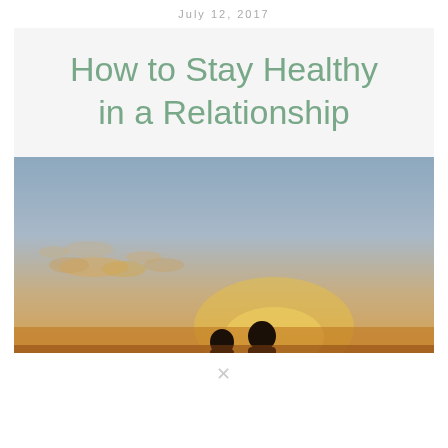July 12, 2017
How to Stay Healthy in a Relationship
[Figure (photo): Silhouette of a couple sitting together against a warm sunset sky with scattered clouds]
✕